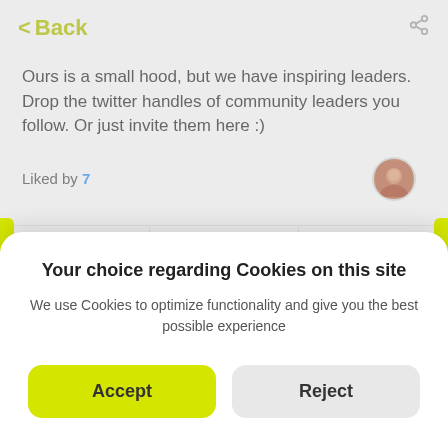< Back
Ours is a small hood, but we have inspiring leaders. Drop the twitter handles of community leaders you follow. Or just invite them here :)
Liked by 7
[Figure (photo): Small circular avatar photo of a person]
Like  Save  Comment
Your choice regarding Cookies on this site
We use Cookies to optimize functionality and give you the best possible experience
Accept  Reject